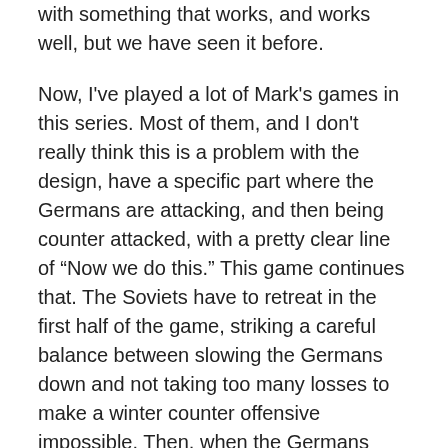with something that works, and works well, but we have seen it before.
Now, I've played a lot of Mark's games in this series. Most of them, and I don't really think this is a problem with the design, have a specific part where the Germans are attacking, and then being counter attacked, with a pretty clear line of “Now we do this.” This game continues that. The Soviets have to retreat in the first half of the game, striking a careful balance between slowing the Germans down and not taking too many losses to make a winter counter offensive impossible. Then, when the Germans have overextended, the Soviets go on the offensive.
Realistic, I know. But it’s a particular drag for the Russian player at the beginning, who